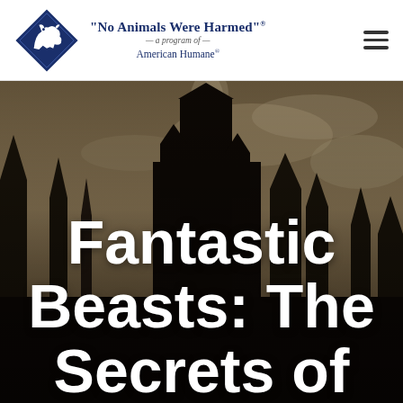[Figure (logo): American Humane 'No Animals Were Harmed' program logo: blue diamond shape with white animal silhouette, beside text 'No Animals Were Harmed' — a program of — American Humane]
[Figure (photo): Dark dramatic silhouette of a castle with tall spires against a moody sky with mist/clouds, resembling Hogwarts. Large white bold text overlay reads 'Fantastic Beasts: The Secrets of [Dumbledore]']